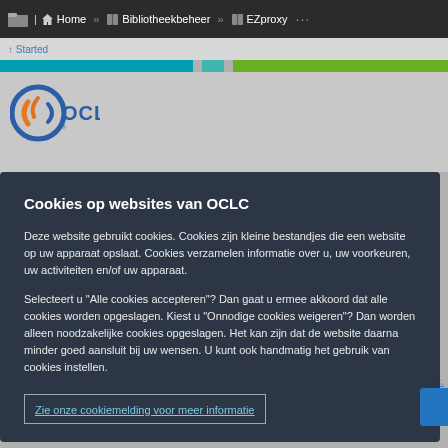Home » Bibliotheekbeheer » EZproxy ...
[Figure (screenshot): OCLC website screenshot background with navigation bar, color stripes, and OCLC logo]
Cookies op websites van OCLC
Deze website gebruikt cookies. Cookies zijn kleine bestandjes die een website op uw apparaat opslaat. Cookies verzamelen informatie over u, uw voorkeuren, uw activiteiten en/of uw apparaat.
Selecteert u “Alle cookies accepteren”? Dan gaat u ermee akkoord dat alle cookies worden opgeslagen. Kiest u “Onnodige cookies weigeren”? Dan worden alleen noodzakelijke cookies opgeslagen. Het kan zijn dat de website daarna minder goed aansluit bij uw wensen. U kunt ook handmatig het gebruik van cookies instellen.
Zie onze cookiemelding voor meer informatie